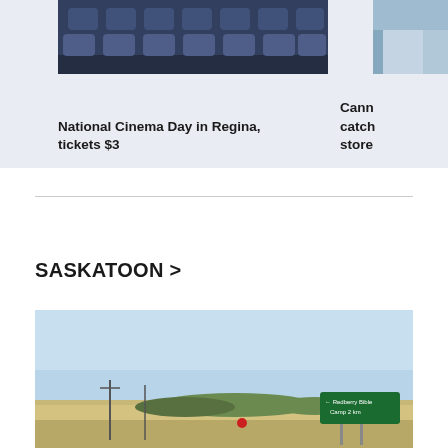[Figure (photo): Theater seats with blue leather recliners in a cinema]
National Cinema Day in Regina, tickets $3
[Figure (photo): Partially visible image on the right side, clipped]
Cann catch store
SASKATOON >
[Figure (photo): Prairie road scene with a green highway sign reading Redberry Bible Camp 2 km, blue sky, flat landscape with trees in the distance]